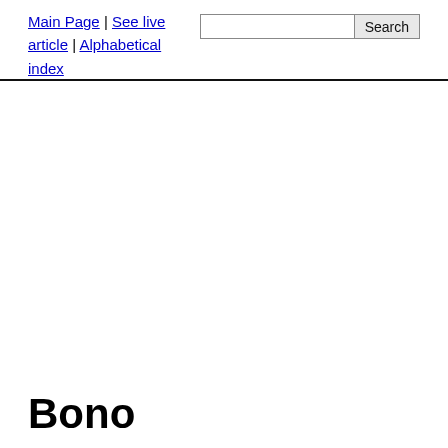Main Page | See live article | Alphabetical index [search box] [Search button]
Bono